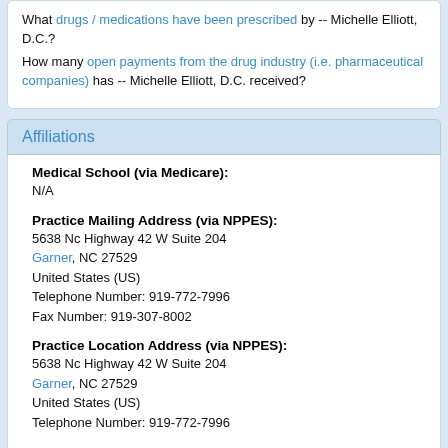What drugs / medications have been prescribed by -- Michelle Elliott, D.C.? How many open payments from the drug industry (i.e. pharmaceutical companies) has -- Michelle Elliott, D.C. received?
Affiliations
Medical School (via Medicare):
N/A
Practice Mailing Address (via NPPES):
5638 Nc Highway 42 W Suite 204
Garner, NC 27529
United States (US)
Telephone Number: 919-772-7996
Fax Number: 919-307-8002
Practice Location Address (via NPPES):
5638 Nc Highway 42 W Suite 204
Garner, NC 27529
United States (US)
Telephone Number: 919-772-7996